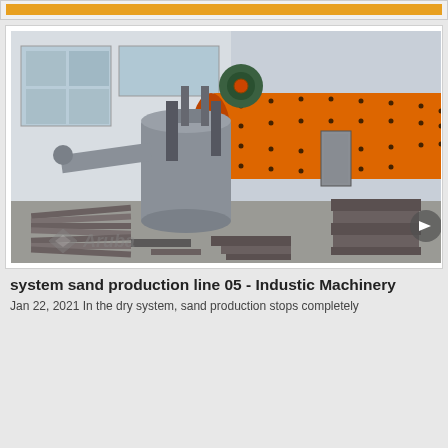[Figure (other): Orange banner/header bar at top of page]
[Figure (photo): Industrial ball mill machinery with large orange cylindrical drum, grey metal components, metal plates stacked on ground, inside a factory/warehouse setting. Aruba watermark visible at bottom left.]
system sand production line 05 - Industic Machinery
Jan 22, 2021 In the dry system, sand production stops completely